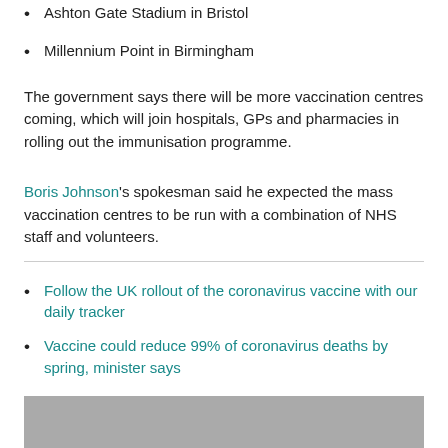Ashton Gate Stadium in Bristol
Millennium Point in Birmingham
The government says there will be more vaccination centres coming, which will join hospitals, GPs and pharmacies in rolling out the immunisation programme.
Boris Johnson's spokesman said he expected the mass vaccination centres to be run with a combination of NHS staff and volunteers.
Follow the UK rollout of the coronavirus vaccine with our daily tracker
Vaccine could reduce 99% of coronavirus deaths by spring, minister says
[Figure (photo): Gray image block at bottom of page]